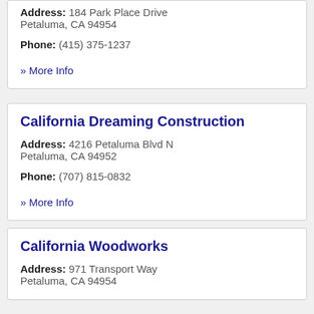Address: 184 Park Place Drive Petaluma, CA 94954
Phone: (415) 375-1237
» More Info
California Dreaming Construction
Address: 4216 Petaluma Blvd N Petaluma, CA 94952
Phone: (707) 815-0832
» More Info
California Woodworks
Address: 971 Transport Way Petaluma, CA 94954